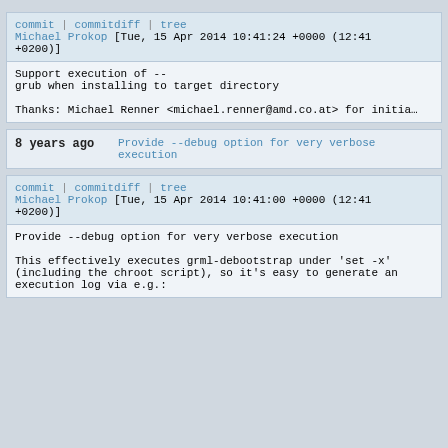commit | commitdiff | tree
Michael Prokop [Tue, 15 Apr 2014 10:41:24 +0000 (12:41 +0200)]
Support execution of --
grub when installing to target directory

Thanks: Michael Renner <michael.renner@amd.co.at> for initia…
8 years ago    Provide --debug option for very verbose execution
commit | commitdiff | tree
Michael Prokop [Tue, 15 Apr 2014 10:41:00 +0000 (12:41 +0200)]
Provide --debug option for very verbose execution

This effectively executes grml-debootstrap under 'set -x'
(including the chroot script), so it's easy to generate an
execution log via e.g.: